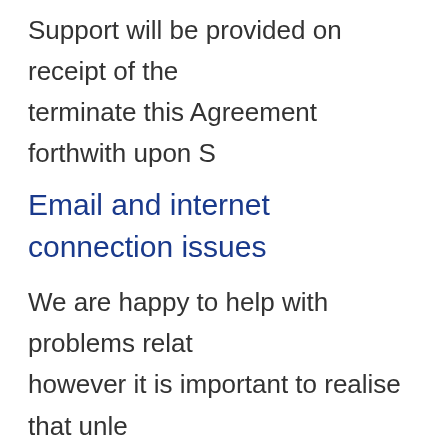Support will be provided on receipt of the terminate this Agreement forthwith upon S
Email and internet connection issues
We are happy to help with problems relat however it is important to realise that unle dial up that it may be necessary for you to currently recommend that customers con internet, but we cannot make any guaran from such a connection.
Support for automated uploading to po
From the initial release of PropertyPro® i